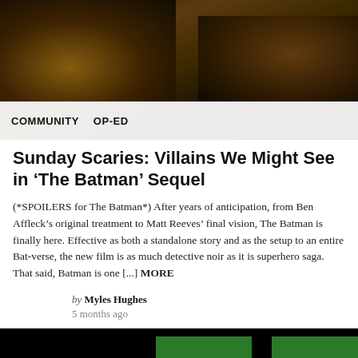[Figure (photo): Dark action scene from The Batman film showing Batman in armor with hands reaching]
COMMUNITY  OP-ED
Sunday Scaries: Villains We Might See in ‘The Batman’ Sequel
(*SPOILERS for The Batman*) After years of anticipation, from Ben Affleck’s original treatment to Matt Reeves’ final vision, The Batman is finally here. Effective as both a standalone story and as the setup to an entire Bat-verse, the new film is as much detective noir as it is superhero saga. That said, Batman is one [...] MORE
by Myles Hughes
5 months ago
[Figure (screenshot): Bottom image showing episode title card with green bars and gold text reading 'episode']